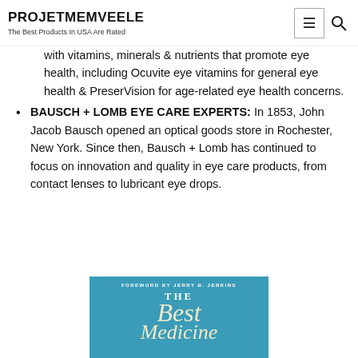PROJETMEMVEELE
The Best Products In USA Are Rated
with vitamins, minerals & nutrients that promote eye health, including Ocuvite eye vitamins for general eye health & PreserVision for age-related eye health concerns.
BAUSCH + LOMB EYE CARE EXPERTS: In 1853, John Jacob Bausch opened an optical goods store in Rochester, New York. Since then, Bausch + Lomb has continued to focus on innovation and quality in eye care products, from contact lenses to lubricant eye drops.
[Figure (photo): Book cover with teal background showing 'FOREWORD BY JERRY B. JENKINS' and title 'THE Best Medicine' in large italic script]